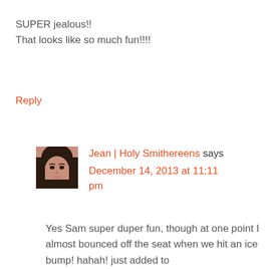SUPER jealous!!
That looks like so much fun!!!!
Reply
[Figure (photo): Profile photo of Jean | Holy Smithereens, a woman with dark hair]
Jean | Holy Smithereens says December 14, 2013 at 11:11 pm
Yes Sam super duper fun, though at one point I almost bounced off the seat when we hit an ice bump! hahah! just added to